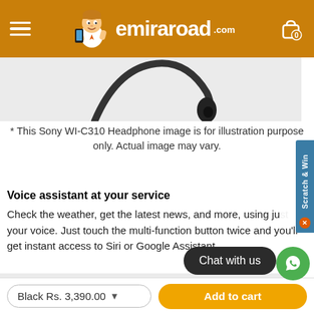emiraroad.com — navigation header with menu and cart
[Figure (photo): Product image area showing partial view of Sony WI-C310 headphone cable/neckband on light grey background]
* This Sony WI-C310 Headphone image is for illustration purpose only. Actual image may vary.
Voice assistant at your service
Check the weather, get the latest news, and more, using just your voice. Just touch the multi-function button twice and you'll get instant access to Siri or Google Assistant.
[Figure (photo): Partial product image of headphone on grey background at bottom]
Chat with us
Black Rs. 3,390.00  Add to cart